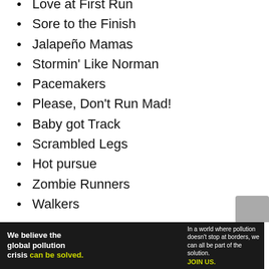Love at First Run
Sore to the Finish
Jalapeño Mamas
Stormin' Like Norman
Pacemakers
Please, Don't Run Mad!
Baby got Track
Scrambled Legs
Hot pursue
Zombie Runners
Walkers
[Figure (other): Pure Earth advertisement banner: 'We believe the global pollution crisis can be solved. In a world where pollution doesn't stop at borders, we can all be part of the solution. JOIN US.' with Pure Earth logo.]